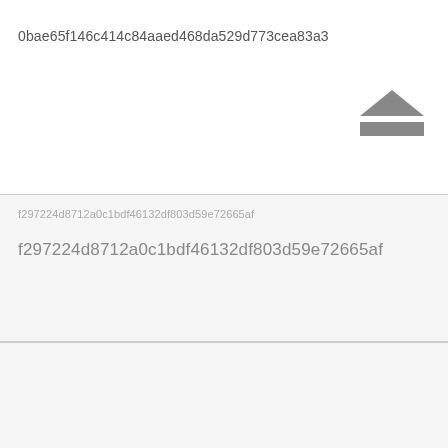0bae65f146c414c84aaed468da529d773cea83a3
[Figure (other): Sort/upload icon: triangle pointing up above a horizontal rectangle bar]
f297224d8712a0c1bdf46132df803d59e72665af
f297224d8712a0c1bdf46132df803d59e72665af
b9d47b715219d86e08ee1d7a6122c1dcad9dfaf4
b9d47b715219d86e08ee1d7a6122c1dcad9dfaf4
479ab712bb67f3de9f5b2061d53b3d7cab4dc252
479ab712bb67f3de9f5b2061d53b3d7cab4dc252